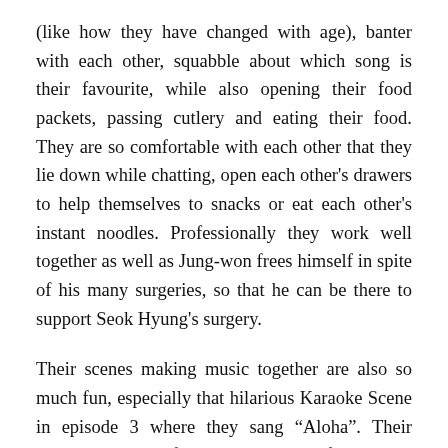(like how they have changed with age), banter with each other, squabble about which song is their favourite, while also opening their food packets, passing cutlery and eating their food. They are so comfortable with each other that they lie down while chatting, open each other's drawers to help themselves to snacks or eat each other's instant noodles. Professionally they work well together as well as Jung-won frees himself in spite of his many surgeries, so that he can be there to support Seok Hyung's surgery.
Their scenes making music together are also so much fun, especially that hilarious Karaoke Scene in episode 3 where they sang “Aloha”. Their snazzier version of Canon at the end of Episode 4 was also very well-constructed as it started off with Seok Hyung’s audition when they first started their band in 1999, then we moved between past